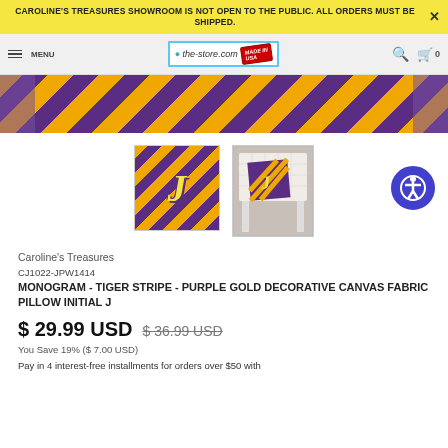CAROLINE'S TREASURES SHOWROOM IS NOT OPEN TO THE PUBLIC. ALL ORDERS MUST BE SHIPPED.
[Figure (screenshot): Website navigation bar with hamburger menu, MENU label, the-store.com logo with Made in USA badge, search icon, and cart icon with 0 count]
[Figure (photo): Purple and gold diagonal tiger stripe pattern fabric - hero banner crop]
[Figure (photo): Two product thumbnails: (1) Purple and gold tiger stripe pillow with monogram letter J; (2) Same pillow shown on a white outdoor chair]
Caroline's Treasures
CJ1022-JPW1414
MONOGRAM - TIGER STRIPE - PURPLE GOLD DECORATIVE CANVAS FABRIC PILLOW INITIAL J
$ 29.99 USD $ 36.99 USD
You Save 19% ($ 7.00 USD)
Pay in 4 interest-free installments for orders over $50 with